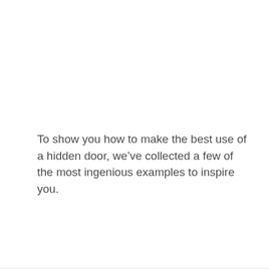To show you how to make the best use of a hidden door, we’ve collected a few of the most ingenious examples to inspire you.